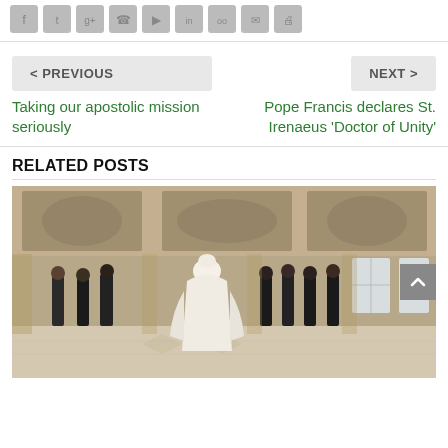[Figure (other): Social media share icons row (Facebook, Twitter, Google+, and others) as gray icon buttons]
< PREVIOUS
NEXT >
Taking our apostolic mission seriously
Pope Francis declares St. Irenaeus 'Doctor of Unity'
RELATED POSTS
[Figure (photo): Pope Francis in white vestments walking toward a group of clergy standing in a richly decorated hall with frescoed walls and ornate marble floors at the Vatican.]